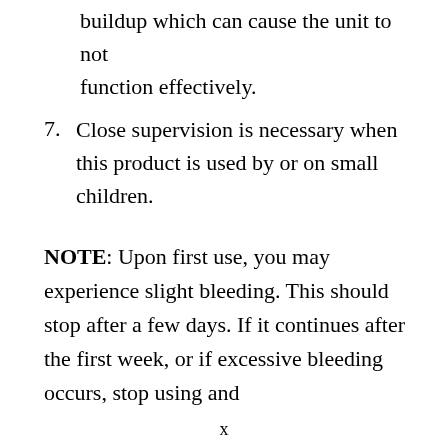buildup which can cause the unit to not function effectively.
7. Close supervision is necessary when this product is used by or on small children.
NOTE: Upon first use, you may experience slight bleeding. This should stop after a few days. If it continues after the first week, or if excessive bleeding occurs, stop using and
x